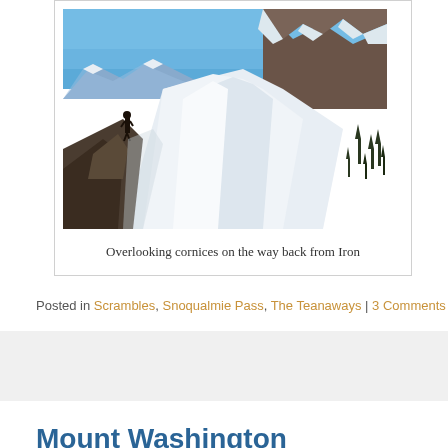[Figure (photo): A person standing on rocky terrain overlooking a snow-covered mountain ridge with cornices, blue sky above, forested slopes to the right]
Overlooking cornices on the way back from Iron
Posted in Scrambles, Snoqualmie Pass, The Teanaways | 3 Comments
Mount Washington
Posted on April 7, 2015